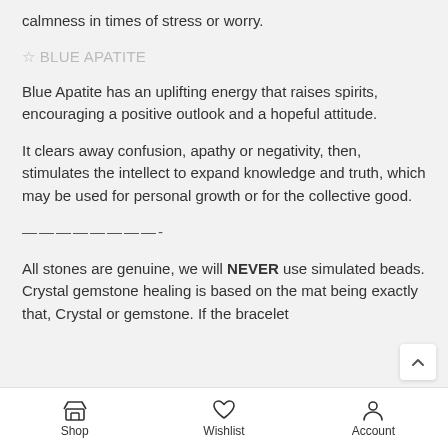calmness in times of stress or worry.
☆ BLUE APATITE
Blue Apatite has an uplifting energy that raises spirits, encouraging a positive outlook and a hopeful attitude.
It clears away confusion, apathy or negativity, then, stimulates the intellect to expand knowledge and truth, which may be used for personal growth or for the collective good.
————————-
All stones are genuine, we will NEVER use simulated beads. Crystal gemstone healing is based on the mat being exactly that, Crystal or gemstone. If the bracelet
Shop  Wishlist  Account